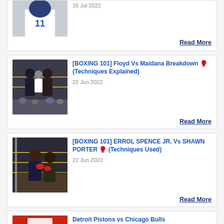[Figure (photo): Football player wearing jersey number 11 with hands on head]
16 Jul 2022
Read More
[Figure (photo): Boxing match scene with two fighters and a referee in the ring]
[BOXING 101] Floyd Vs Maidana Breakdown 🥊 (Techniques Explained)
22 Jun 2022
Read More
[Figure (photo): Boxing match scene with two fighters near the ropes]
[BOXING 101] ERROL SPENCE JR. Vs SHAWN PORTER 🥊 (Techniques Used)
22 Jun 2022
Read More
[Figure (photo): Basketball game scene with player near the basket]
Detroit Pistons vs Chicago Bulls
23 Oct 2021